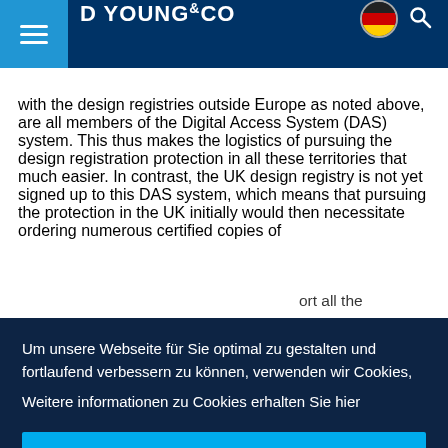D YOUNG & CO
with the design registries outside Europe as noted above, are all members of the Digital Access System (DAS) system. This thus makes the logistics of pursuing the design registration protection in all these territories that much easier. In contrast, the UK design registry is not yet signed up to this DAS system, which means that pursuing the protection in the UK initially would then necessitate ordering numerous certified copies of the [obscured] ...ort all the
Um unsere Webseite für Sie optimal zu gestalten und fortlaufend verbessern zu können, verwenden wir Cookies,
Weitere informationen zu Cookies erhalten Sie hier
OK